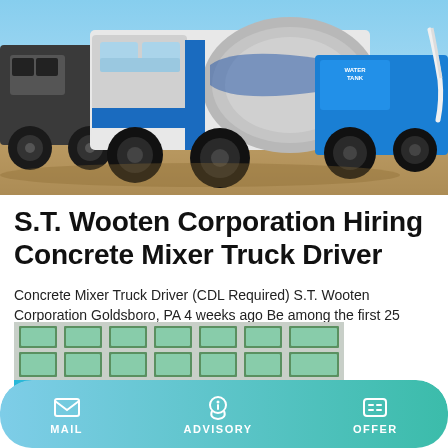[Figure (photo): Construction site with blue and white concrete mixer trucks and heavy equipment on a dirt surface under a blue sky.]
S.T. Wooten Corporation Hiring Concrete Mixer Truck Driver
Concrete Mixer Truck Driver (CDL Required) S.T. Wooten Corporation Goldsboro, PA 4 weeks ago Be among the first 25 applicants
Learn More
[Figure (photo): Partial view of a building exterior with green-framed windows arranged in a grid, partially visible at the bottom of the page.]
MAIL   ADVISORY   OFFER